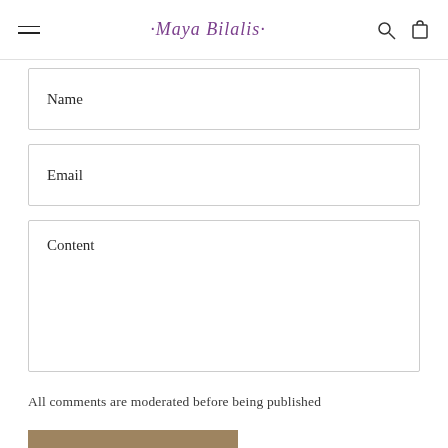Maya Bilalis
Name
Email
Content
All comments are moderated before being published
POST COMMENT